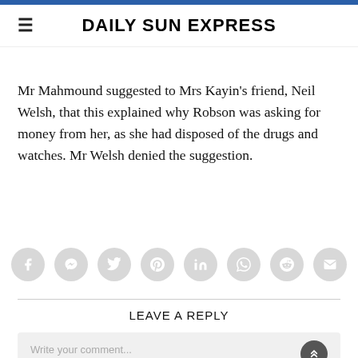DAILY SUN EXPRESS
Mr Mahmound suggested to Mrs Kayin's friend, Neil Welsh, that this explained why Robson was asking for money from her, as she had disposed of the drugs and watches. Mr Welsh denied the suggestion.
[Figure (other): Row of social media sharing icon buttons: Facebook, Messenger, Twitter, Pinterest, LinkedIn, WhatsApp, Reddit, Email]
LEAVE A REPLY
Write your comment...